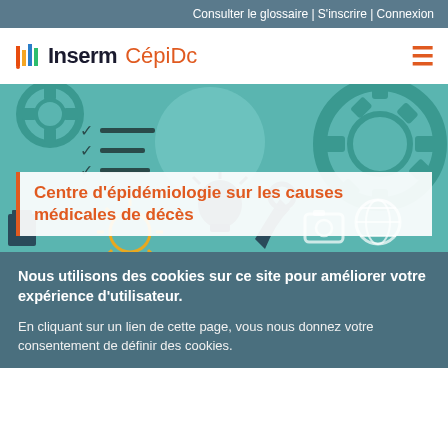Consulter le glossaire | S'inscrire | Connexion
[Figure (logo): Inserm CépiDc logo with colored bar icon and hamburger menu]
[Figure (illustration): Hero banner with teal illustrated icons: gears, checklist, lightbulb, camera, globe, wrench on teal background]
Centre d'épidémiologie sur les causes médicales de décès
Nous utilisons des cookies sur ce site pour améliorer votre expérience d'utilisateur.
En cliquant sur un lien de cette page, vous nous donnez votre consentement de définir des cookies.